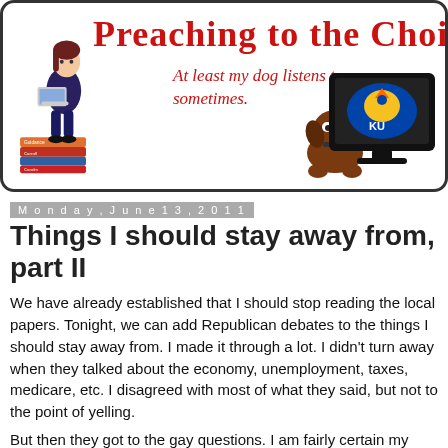[Figure (illustration): Blog header banner reading 'Preaching to the Choir' with subtitle 'At least my dog listens to me... sometimes.' Includes cartoon illustrations of a woman sitting on books, a brown dog, and a TV monitor with a KU Jayhawk logo.]
Monday, June 13, 2011
Things I should stay away from, part II
We have already established that I should stop reading the local papers. Tonight, we can add Republican debates to the things I should stay away from. I made it through a lot. I didn't turn away when they talked about the economy, unemployment, taxes, medicare, etc. I disagreed with most of what they said, but not to the point of yelling.
But then they got to the gay questions. I am fairly certain my head actually did the Exorcist spinning thing. I stomped